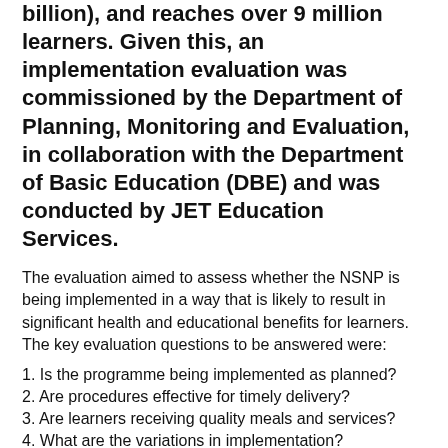billion), and reaches over 9 million learners. Given this, an implementation evaluation was commissioned by the Department of Planning, Monitoring and Evaluation, in collaboration with the Department of Basic Education (DBE) and was conducted by JET Education Services.
The evaluation aimed to assess whether the NSNP is being implemented in a way that is likely to result in significant health and educational benefits for learners. The key evaluation questions to be answered were:
1. Is the programme being implemented as planned?
2. Are procedures effective for timely delivery?
3. Are learners receiving quality meals and services?
4. What are the variations in implementation?
5. Is the programme reaching intended beneficiaries?
6. Is there evidence that NSNP enhances learning behaviour (likely impact of the programme)?
7. Should it be upscaled? How can it be improved?
8. Are there other spinoffs of the NSNP?
The DBE made changes to the programme based on the